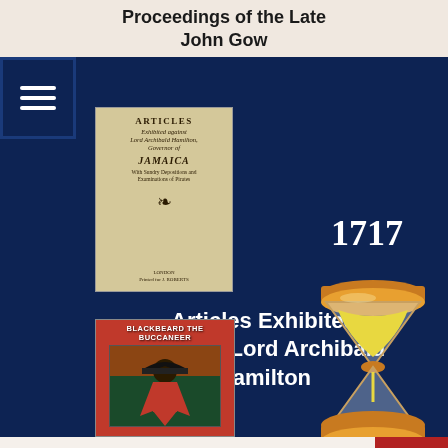Proceedings of the Late John Gow
[Figure (photo): Old book cover: Articles Exhibited Against Lord Archibald Hamilton, Jamaica, 1717]
1717
Articles Exhibited Against Lord Archibald Hamilton
[Figure (illustration): Hourglass illustration in orange and yellow]
[Figure (photo): Book cover: Blackbeard the Buccaneer]
Our website uses cookies. By continuing we assume your permission to deploy cookies, as detailed in our privacy and cookies policy.